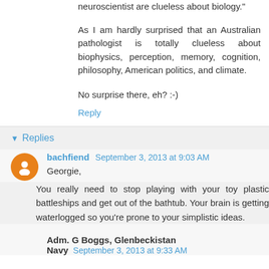neuroscientist are clueless about biology."
As I am hardly surprised that an Australian pathologist is totally clueless about biophysics, perception, memory, cognition, philosophy, American politics, and climate.
No surprise there, eh? :-)
Reply
Replies
bachfiend  September 3, 2013 at 9:03 AM
Georgie,
You really need to stop playing with your toy plastic battleships and get out of the bathtub. Your brain is getting waterlogged so you're prone to your simplistic ideas.
Adm. G Boggs, Glenbeckistan Navy  September 3, 2013 at 9:33 AM